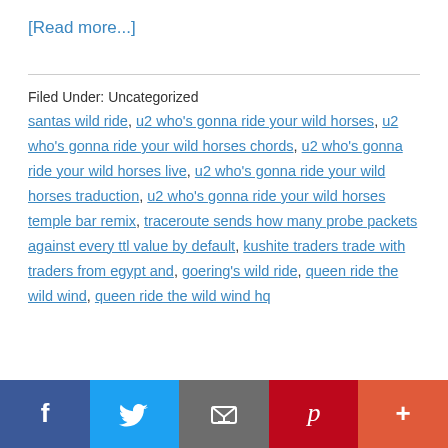[Read more...]
Filed Under: Uncategorized
santas wild ride, u2 who's gonna ride your wild horses, u2 who's gonna ride your wild horses chords, u2 who's gonna ride your wild horses live, u2 who's gonna ride your wild horses traduction, u2 who's gonna ride your wild horses temple bar remix, traceroute sends how many probe packets against every ttl value by default, kushite traders trade with traders from egypt and, goering's wild ride, queen ride the wild wind, queen ride the wild wind hq
[Figure (other): Social sharing bar with Facebook, Twitter, Email, Pinterest, and More buttons]